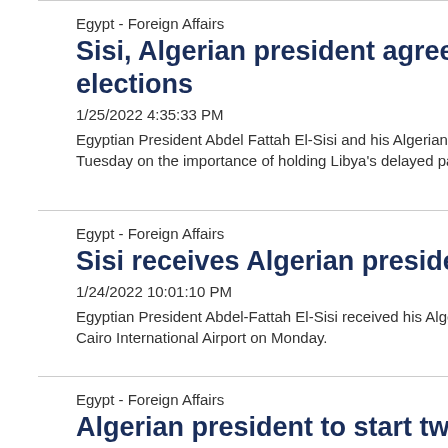Egypt - Foreign Affairs
Sisi, Algerian president agree on necessity of holding Libya's delayed elections
1/25/2022 4:35:33 PM
Egyptian President Abdel Fattah El-Sisi and his Algerian counterpart agreed on Tuesday on the importance of holding Libya's delayed pa...
Egypt - Foreign Affairs
Sisi receives Algerian president at Cairo ai...
1/24/2022 10:01:10 PM
Egyptian President Abdel-Fattah El-Sisi received his Algerian counterpart at Cairo International Airport on Monday.
Egypt - Foreign Affairs
Algerian president to start two day official...